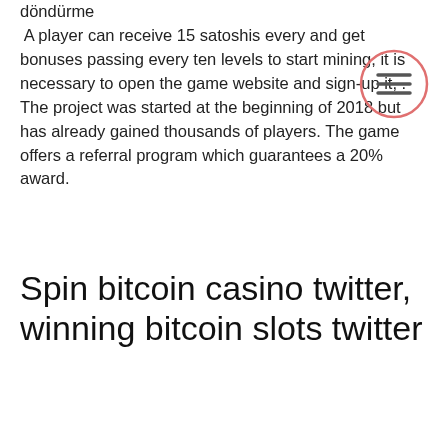döndürme
 A player can receive 15 satoshis every and get bonuses passing every ten levels to start mining, it is necessary to open the game website and sign-up it, . The project was started at the beginning of 2018 but has already gained thousands of players. The game offers a referral program which guarantees a 20% award.
[Figure (illustration): Hamburger menu icon: three horizontal lines inside a circle with a salmon/coral colored border, positioned in the upper right area of the page]
Spin bitcoin casino twitter, winning bitcoin slots twitter
If Minecraft is one of your favorite games, BitQuest will be appreciated by you too. Being a strategy which allows building player's imaginary worlds this game will provide you with the control of your creation, bitstarz instagram. The project is funded by donations and the main currency used in the